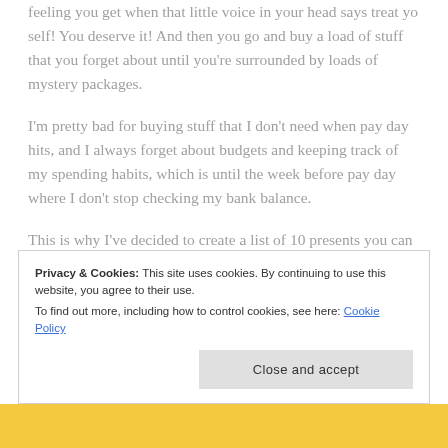feeling you get when that little voice in your head says treat yo self! You deserve it! And then you go and buy a load of stuff that you forget about until you're surrounded by loads of mystery packages.
I'm pretty bad for buying stuff that I don't need when pay day hits, and I always forget about budgets and keeping track of my spending habits, which is until the week before pay day where I don't stop checking my bank balance.
This is why I've decided to create a list of 10 presents you can buy yourself for a treat which are great for some self-care without breaking the bank! And they're all available
Privacy & Cookies: This site uses cookies. By continuing to use this website, you agree to their use.
To find out more, including how to control cookies, see here: Cookie Policy
Close and accept